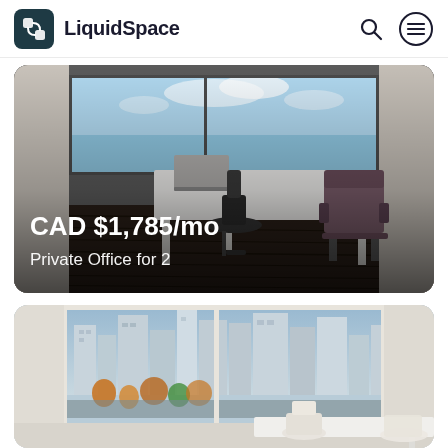LiquidSpace
[Figure (photo): Private office interior with white desk, black office chair, brown guest chair, dark hardwood floors, and large windows with bright sky view. Price overlay shows CAD $1,785/mo for Private Office for 2.]
CAD $1,785/mo
Private Office for 2
[Figure (photo): Office room with large floor-to-ceiling windows showing a city skyline view with buildings and tree-lined street below. White ergonomic chairs and a white desk visible in the foreground.]